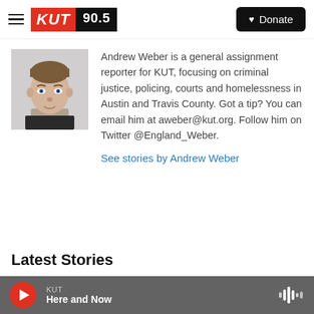KUT 90.5 | Donate
[Figure (photo): Headshot photo of Andrew Weber, a young man with light skin and short brown hair against a white background]
Andrew Weber is a general assignment reporter for KUT, focusing on criminal justice, policing, courts and homelessness in Austin and Travis County. Got a tip? You can email him at aweber@kut.org. Follow him on Twitter @England_Weber.
See stories by Andrew Weber
Latest Stories
KUT Here and Now